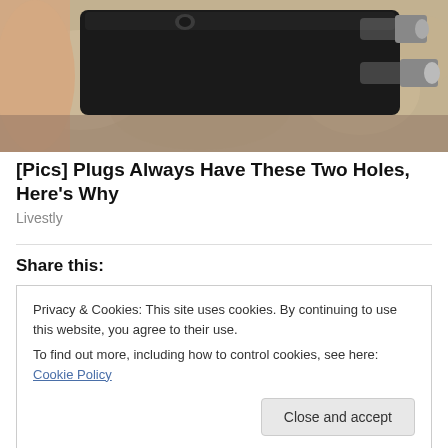[Figure (photo): A hand holding a black electrical plug with two metal prongs, photographed close-up against a blurred stone/marble background.]
[Pics] Plugs Always Have These Two Holes, Here's Why
Livestly
Share this:
Privacy & Cookies: This site uses cookies. By continuing to use this website, you agree to their use.
To find out more, including how to control cookies, see here: Cookie Policy
Close and accept